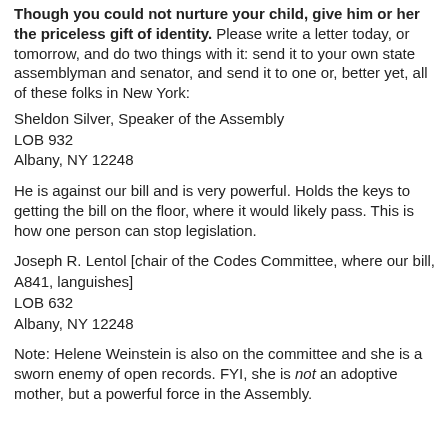Though you could not nurture your child, give him or her the priceless gift of identity. Please write a letter today, or tomorrow, and do two things with it: send it to your own state assemblyman and senator, and send it to one or, better yet, all of these folks in New York:
Sheldon Silver, Speaker of the Assembly
LOB 932
Albany, NY 12248
He is against our bill and is very powerful. Holds the keys to getting the bill on the floor, where it would likely pass. This is how one person can stop legislation.
Joseph R. Lentol [chair of the Codes Committee, where our bill, A841, languishes]
LOB 632
Albany, NY 12248
Note: Helene Weinstein is also on the committee and she is a sworn enemy of open records. FYI, she is not an adoptive mother, but a powerful force in the Assembly.